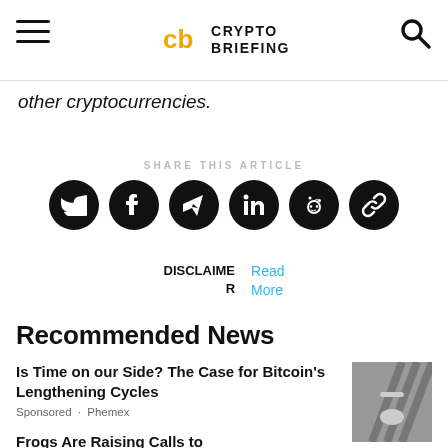Crypto Briefing
other cryptocurrencies.
SHARE THIS ARTICLE
[Figure (infographic): Row of 6 social share buttons (Twitter, Facebook, Telegram, LinkedIn, Reddit, Link) as black circles with white icons]
DISCLAIMER Read More
Recommended News
Is Time on our Side? The Case for Bitcoin's Lengthening Cycles
Sponsored · Phemex
Frogs Are Raising Calls to